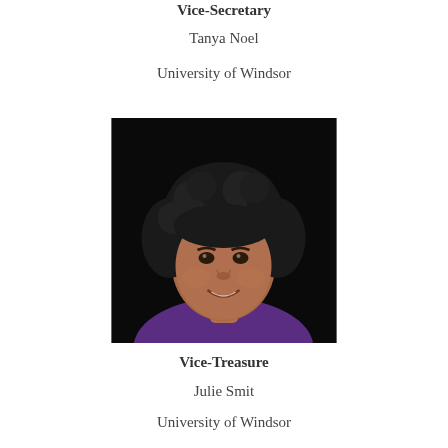Vice-Secretary
Tanya Noel
University of Windsor
[Figure (photo): Headshot photo of a person with curly dark hair, smiling, wearing a purple top, against a black background.]
Vice-Treasure
Julie Smit
University of Windsor